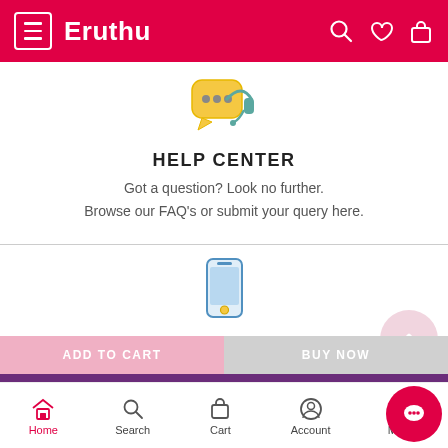Eruthu
[Figure (illustration): Customer support headset with speech bubble icon in yellow and teal colors]
HELP CENTER
Got a question? Look no further. Browse our FAQ's or submit your query here.
[Figure (illustration): Smartphone/mobile phone icon in blue and yellow outline style]
SHOP ON THE GO
Download the app and get exciting app only offers at your finger tips.
Home  Search  Cart  Account  Menu